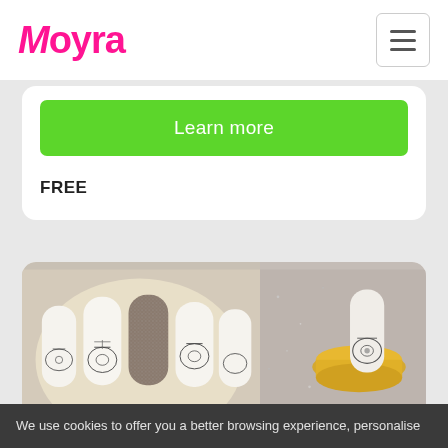Moyra
Learn more
FREE
[Figure (photo): Nail art photo showing decorated fingernails with lace and floral patterns alongside a gold jar of glitter powder]
SZALAY ANDREA NORKA
How to effect with Spotlight
We use cookies to offer you a better browsing experience, personalise